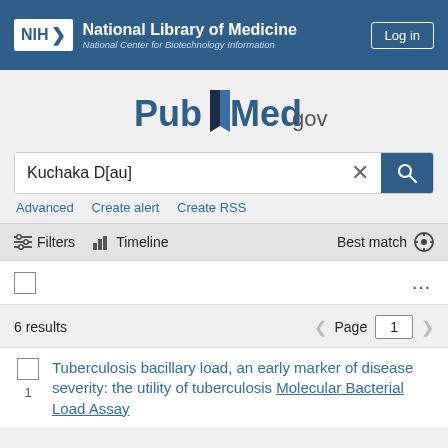NIH National Library of Medicine National Center for Biotechnology Information | Log in
[Figure (logo): PubMed.gov logo with stylized open book icon]
Kuchaka D[au]
Advanced  Create alert  Create RSS
Filters  Timeline  Best match
6 results  Page 1
1. Tuberculosis bacillary load, an early marker of disease severity: the utility of tuberculosis Molecular Bacterial Load Assay